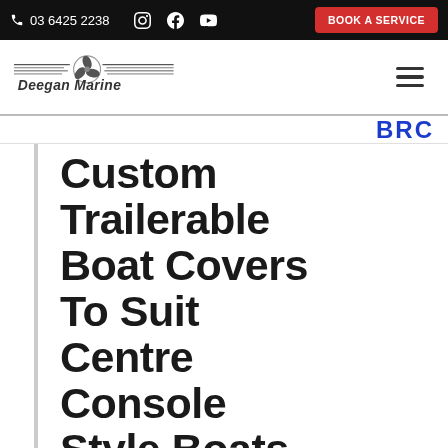03 6425 2238  BOOK A SERVICE
[Figure (logo): Deegan Marine logo with propeller graphic and horizontal lines, text 'Deegan Marine']
Custom Trailerable Boat Covers To Suit Centre Console Style Boats 6.3-6.7 Metres